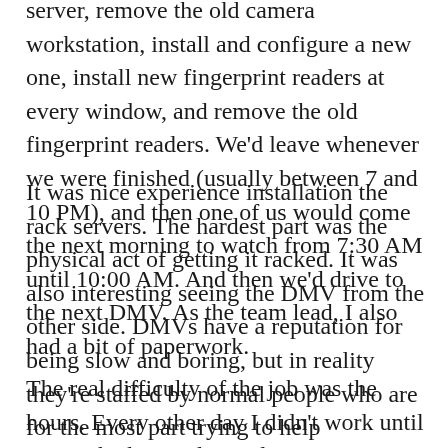server, remove the old camera workstation, install and configure a new one, install new fingerprint readers at every window, and remove the old fingerprint readers. We'd leave whenever we were finished (usually between 7 and 10 PM), and then one of us would come the next morning to watch from 7:30 AM until 10:00 AM. And then we'd drive to the next DMV. As the team lead, I also had a bit of paperwork.
It was nice experience installation the rack servers. The hardest part was the physical act of getting it racked. It was also interesting seeing the DMV from the other side. DMVs have a reputation for being slow and boring, but in reality they're staffed by normal people who are for the most part trying to help customers. And some of those customers are pretty bad.
The real difficulty of the job was the hours. Every other day I didn't work until 2:30, which sounds good. However, when you consider that I'm in a different hotel each night, waking